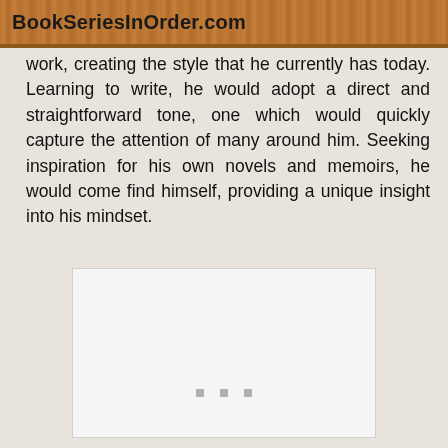BookSeriesInOrder.com
work, creating the style that he currently has today. Learning to write, he would adopt a direct and straightforward tone, one which would quickly capture the attention of many around him. Seeking inspiration for his own novels and memoirs, he would come find himself, providing a unique insight into his mindset.
[Figure (other): Advertisement placeholder box with three small gray dots in the center-lower area]